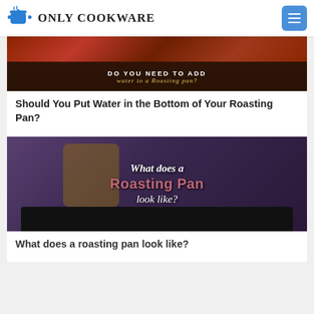ONLY COOKWARE
[Figure (photo): Banner image with text overlay: DO YOU NEED TO ADD water to a Roasting pan?]
Should You Put Water in the Bottom of Your Roasting Pan?
[Figure (photo): Photo of person in apron with roasting pan. Text overlay: What does a Roasting Pan look like?]
What does a roasting pan look like?